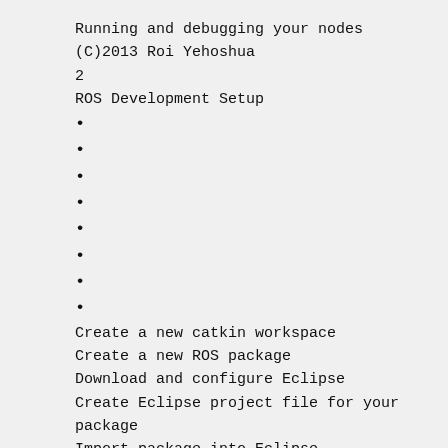Running and debugging your nodes
(C)2013 Roi Yehoshua
2
ROS Development Setup
Create a new catkin workspace
Create a new ROS package
Download and configure Eclipse
Create Eclipse project file for your package
Import package into Eclipse
Write the code
Update the make file
Build the package
(C)2013 Roi Yehoshua
3